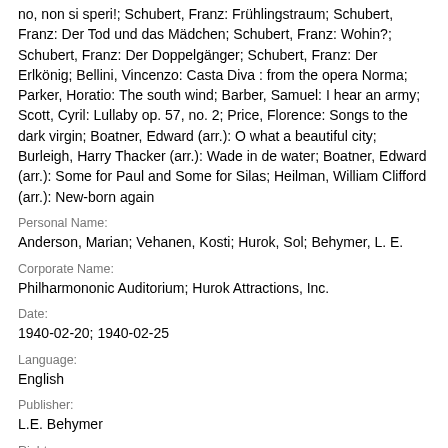no, non si speri!; Schubert, Franz: Frühlingstraum; Schubert, Franz: Der Tod und das Mädchen; Schubert, Franz: Wohin?; Schubert, Franz: Der Doppelgänger; Schubert, Franz: Der Erlkönig; Bellini, Vincenzo: Casta Diva : from the opera Norma; Parker, Horatio: The south wind; Barber, Samuel: I hear an army; Scott, Cyril: Lullaby op. 57, no. 2; Price, Florence: Songs to the dark virgin; Boatner, Edward (arr.): O what a beautiful city; Burleigh, Harry Thacker (arr.): Wade in de water; Boatner, Edward (arr.): Some for Paul and Some for Silas; Heilman, William Clifford (arr.): New-born again
Personal Name:
Anderson, Marian; Vehanen, Kosti; Hurok, Sol; Behymer, L. E.
Corporate Name:
Philharmonic Auditorium; Hurok Attractions, Inc.
Date:
1940-02-20; 1940-02-25
Language:
English
Publisher:
L.E. Behymer
Rights: